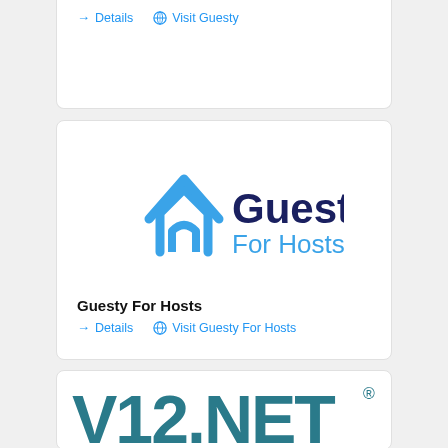[Figure (other): Partial card at top with Details and Visit Guesty links]
[Figure (logo): Guesty For Hosts logo — blue house icon with Guesty in dark navy and For Hosts in blue]
Guesty For Hosts
→ Details   🌐 Visit Guesty For Hosts
[Figure (logo): V12.NET logo in large teal/dark teal text with registered trademark symbol]